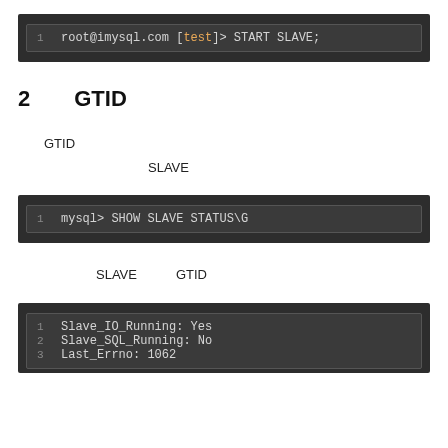[Figure (screenshot): Code block showing: 1  root@imysql.com [test]> START SLAVE;]
2　　GTID
GTID
SLAVE
[Figure (screenshot): Code block showing: 1  mysql> SHOW SLAVE STATUS\G]
SLAVE　　　GTID
[Figure (screenshot): Code block showing lines: 1 Slave_IO_Running: Yes  2 Slave_SQL_Running: No  3 Last_Errno: 1062]